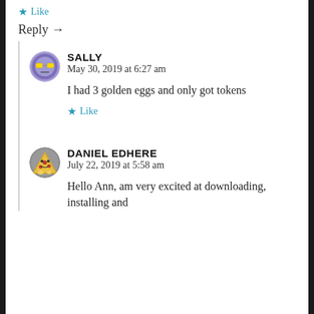★ Like
Reply →
SALLY
May 30, 2019 at 6:27 am

I had 3 golden eggs and only got tokens

★ Like
DANIEL EDHERE
July 22, 2019 at 5:58 am

Hello Ann, am very excited at downloading, installing and